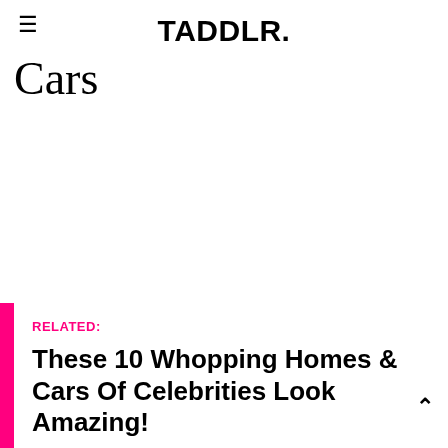TADDLR.
Cars
RELATED:
These 10 Whopping Homes & Cars Of Celebrities Look Amazing!